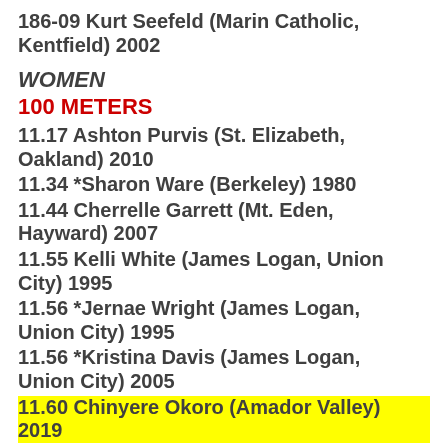186-09 Kurt Seefeld (Marin Catholic, Kentfield) 2002
WOMEN
100 METERS
11.17 Ashton Purvis (St. Elizabeth, Oakland) 2010
11.34 *Sharon Ware (Berkeley) 1980
11.44 Cherrelle Garrett (Mt. Eden, Hayward) 2007
11.55 Kelli White (James Logan, Union City) 1995
11.56 *Jernae Wright (James Logan, Union City) 1995
11.56 *Kristina Davis (James Logan, Union City) 2005
11.60 Chinyere Okoro (Amador Valley) 2019